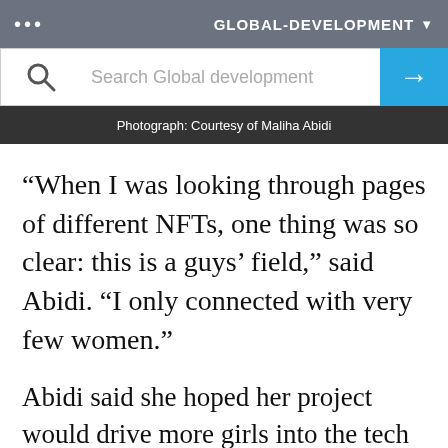... GLOBAL-DEVELOPMENT ▾
[Figure (screenshot): Search bar with search icon, placeholder text 'Search Global development', and a blue arrow button]
Photograph: Courtesy of Maliha Abidi
“When I was looking through pages of different NFTs, one thing was so clear: this is a guys’ field,” said Abidi. “I only connected with very few women.”
Abidi said she hoped her project would drive more girls into the tech and blockchain industries. But in a world where men are up to 50% more likely to access